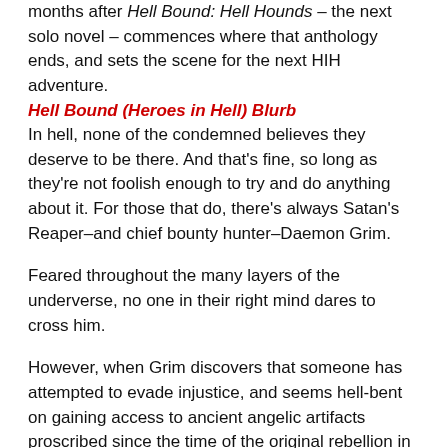months after Hell Bound: Hell Hounds – the next solo novel – commences where that anthology ends, and sets the scene for the next HIH adventure.
Hell Bound (Heroes in Hell) Blurb
In hell, none of the condemned believes they deserve to be there. And that's fine, so long as they're not foolish enough to try and do anything about it. For those that do, there's always Satan's Reaper–and chief bounty hunter–Daemon Grim.
Feared throughout the many layers of the underverse, no one in their right mind dares to cross him.
However, when Grim discovers that someone has attempted to evade injustice, and seems hell-bent on gaining access to ancient angelic artifacts proscribed since the time of the original rebellion in heaven, circumstances point to the fact they may be doing just that.
The question is...why?
Thus begins an investigation that leads Grim throughout the many contradictory and baffling levels of the underworld